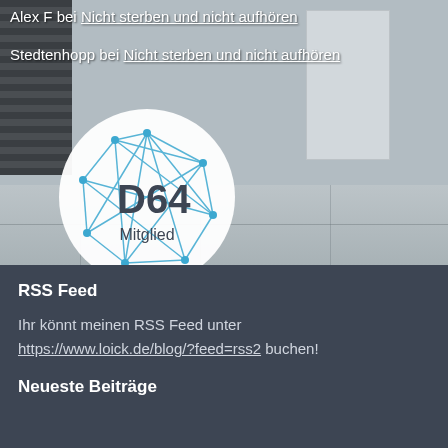[Figure (photo): Concrete wall background with a D64 Mitglied badge logo overlay]
Alex F bei Nicht sterben und nicht aufhören
Stedtenhopp bei Nicht sterben und nicht aufhören
RSS Feed
Ihr könnt meinen RSS Feed unter https://www.loick.de/blog/?feed=rss2 buchen!
Neueste Beiträge